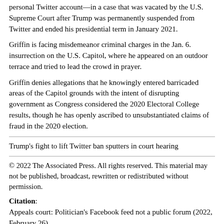personal Twitter account—in a case that was vacated by the U.S. Supreme Court after Trump was permanently suspended from Twitter and ended his presidential term in January 2021.
Griffin is facing misdemeanor criminal charges in the Jan. 6. insurrection on the U.S. Capitol, where he appeared on an outdoor terrace and tried to lead the crowd in prayer.
Griffin denies allegations that he knowingly entered barricaded areas of the Capitol grounds with the intent of disrupting government as Congress considered the 2020 Electoral College results, though he has openly ascribed to unsubstantiated claims of fraud in the 2020 election.
Trump's fight to lift Twitter ban sputters in court hearing
© 2022 The Associated Press. All rights reserved. This material may not be published, broadcast, rewritten or redistributed without permission.
Citation: Appeals court: Politician's Facebook feed not a public forum (2022, February 26) retrieved 26 February 2022